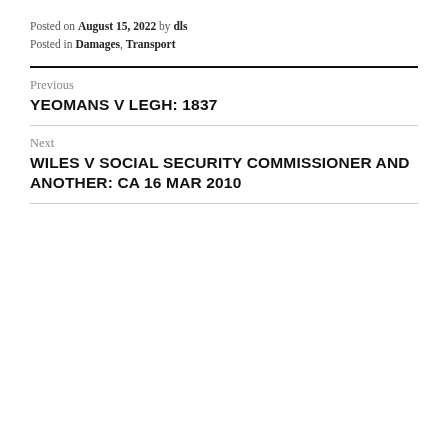Posted on August 15, 2022 by dls
Posted in Damages, Transport
Previous
YEOMANS V LEGH: 1837
Next
WILES V SOCIAL SECURITY COMMISSIONER AND ANOTHER: CA 16 MAR 2010